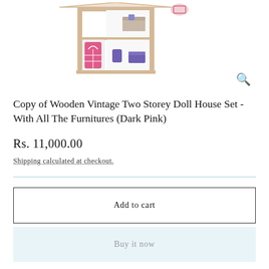[Figure (photo): A wooden vintage two-storey doll house with pink door and furniture items visible inside, rendered on white background]
Copy of Wooden Vintage Two Storey Doll House Set - With All The Furnitures (Dark Pink)
Rs. 11,000.00
Shipping calculated at checkout.
Add to cart
Buy it now